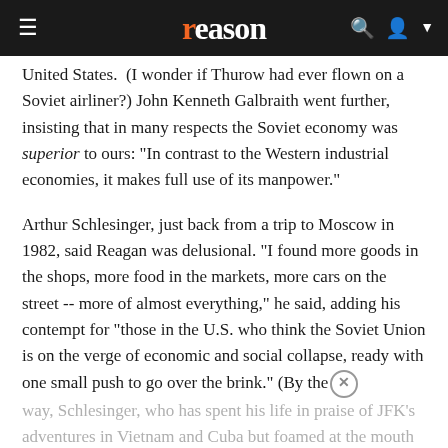reason
United States. (I wonder if Thurow had ever flown on a Soviet airliner?) John Kenneth Galbraith went further, insisting that in many respects the Soviet economy was superior to ours: "In contrast to the Western industrial economies, it makes full use of its manpower."
Arthur Schlesinger, just back from a trip to Moscow in 1982, said Reagan was delusional. "I found more goods in the shops, more food in the markets, more cars on the street -- more of almost everything," he said, adding his contempt for "those in the U.S. who think the Soviet Union is on the verge of economic and social collapse, ready with one small push to go over the brink." (By the way, Schlesinger, who has spent his life in praise of JFK's adventures in Vietnam and Cuba but foamed at the mouth over every other American military action of the Cold War, proves Isaiah Berlin wrong: In addition to foxes and